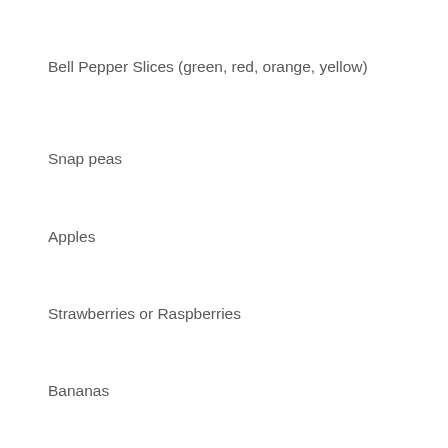Bell Pepper Slices (green, red, orange, yellow)
Snap peas
Apples
Strawberries or Raspberries
Bananas
Mandarin Oranges
Black Olives
Sunflower/Pumpkin seeds
Dates
Dried Fruits and Raisins
Crunchy Salty Snacks:
Seaweed Snacks